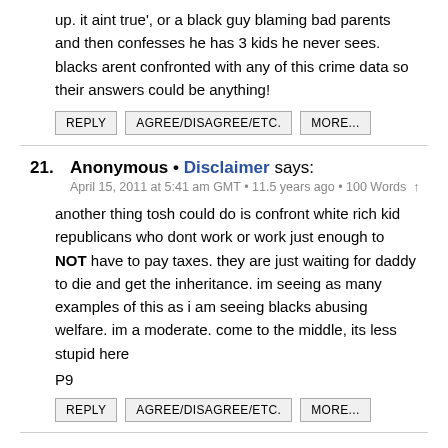up. it aint true', or a black guy blaming bad parents and then confesses he has 3 kids he never sees. blacks arent confronted with any of this crime data so their answers could be anything!
REPLY | AGREE/DISAGREE/ETC. | MORE...
21. Anonymous • Disclaimer says:
April 15, 2011 at 5:41 am GMT • 11.5 years ago • 100 Words ↑
another thing tosh could do is confront white rich kid republicans who dont work or work just enough to NOT have to pay taxes. they are just waiting for daddy to die and get the inheritance. im seeing as many examples of this as i am seeing blacks abusing welfare. im a moderate. come to the middle, its less stupid here
P9
REPLY | AGREE/DISAGREE/ETC. | MORE...
22. Anonymous • Disclaimer says: